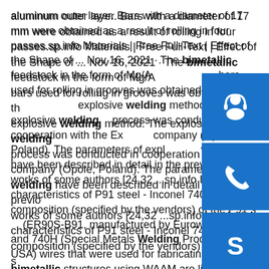aluminum outer layer. Bars with a diameter of 17 mm were obtained as a result of rolling in four passes.sp.info Materials | Free Full-Text | Effect of the Shape of ... Nov 16, 2021 · The bimetallic feedstock in the form of Mg/Al bars used for rolling in grooves was obtained by the explosive welding method. The explosive welding process was conducted in cooperation with the Exp company (Opole, Poland). The parameters of explosive welding have been described in detail in the previous works of some authors [24,32 ...sp.info Interfacial characteristics of P91 steel - Inconel 740H ...The composition (specified by the vendors) of the P91 steel (ER90S-B91, manufactured by Euroweld, USA) and 740H (Special Metals Welding Products Co., USA) wires that were used for fabricating the bimetallic structures using WAAM are listed in Table 1.The diameter of the wire was 0.9 and 1 mm for P91 steel and 740H superalloy, respectively.sp.info (PDF) Explosion welding of Al + Cu bimetallic joints for... The manufacture of aluminium +
[Figure (other): Three blue sidebar buttons: headset/support icon, phone icon, and Skype icon]